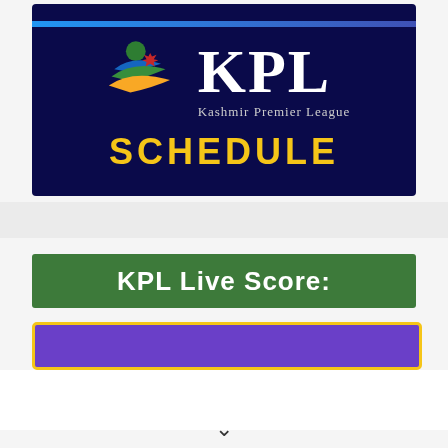[Figure (logo): Kashmir Premier League (KPL) schedule banner on dark navy background with KPL logo (stylized figure with green, blue, yellow swooshes and red maple leaf) on left, large KPL text on right with 'Kashmir Premier League' subtitle, and 'SCHEDULE' in large yellow bold letters below]
KPL Live Score:
[Figure (other): Purple/violet rounded button bar with yellow border, partially visible]